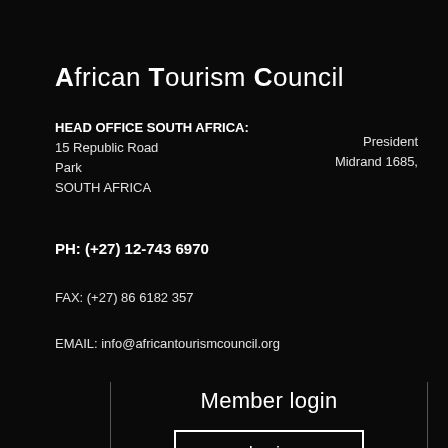African Tourism Council
HEAD OFFICE SOUTH AFRICA:
15 Republic Road
Park
SOUTH AFRICA
President
Midrand 1685,
PH: (+27) 12-743 6970
FAX: (+27) 86 6182 357
EMAIL: info@africantourismcouncil.org
Member login
Login
Register